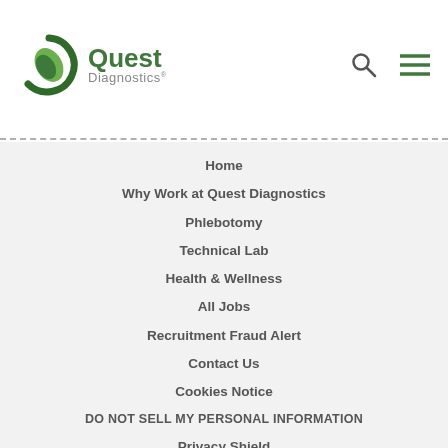[Figure (logo): Quest Diagnostics logo with green circular leaf icon and company name]
Home
Why Work at Quest Diagnostics
Phlebotomy
Technical Lab
Health & Wellness
All Jobs
Recruitment Fraud Alert
Contact Us
Cookies Notice
DO NOT SELL MY PERSONAL INFORMATION
Privacy Shield